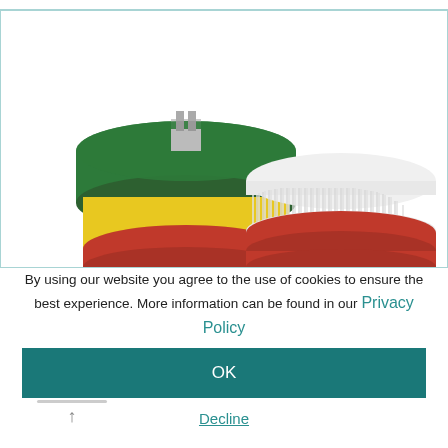[Figure (photo): Two cleaning brush attachments on white background — left one has a green scouring pad top with yellow foam cylinder body and red base, right one has white bristles with red base]
By using our website you agree to the use of cookies to ensure the best experience. More information can be found in our Privacy Policy
OK
Decline